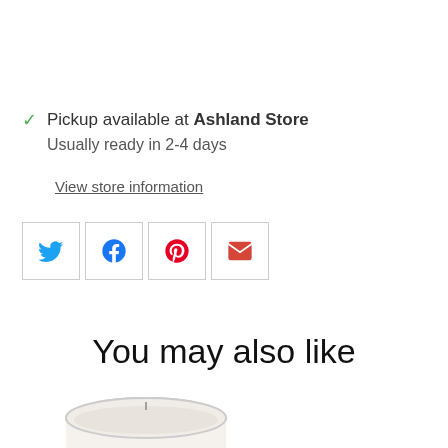Pickup available at Ashland Store
Usually ready in 2-4 days
View store information
[Figure (other): Row of four social share buttons: Twitter (blue bird icon), Facebook (blue f icon), Pinterest (red P icon), Email (red envelope icon)]
You may also like
[Figure (photo): Partial image of a white candle in a round container at the bottom of the page]